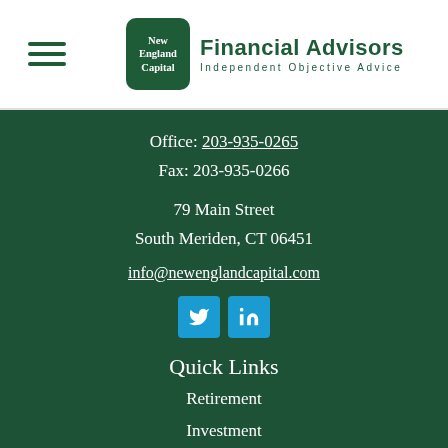New England Capital Financial Advisors — Independent Objective Advice
Office: 203-935-0265
Fax: 203-935-0266
79 Main Street
South Meriden, CT 06451
info@newenglandcapital.com
[Figure (infographic): Twitter and LinkedIn social media icon buttons in blue]
Quick Links
Retirement
Investment
Estate
Insurance
Tax